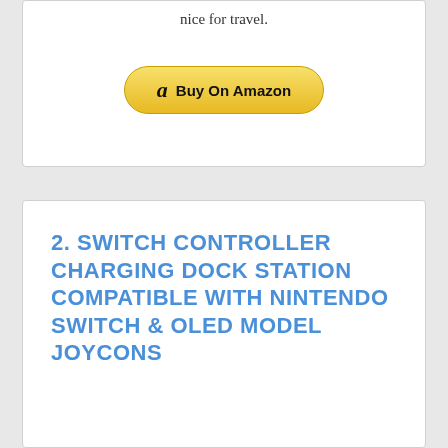nice for travel.
Buy On Amazon
2. SWITCH CONTROLLER CHARGING DOCK STATION COMPATIBLE WITH NINTENDO SWITCH & OLED MODEL JOYCONS
[Figure (photo): Nintendo Switch controller charging dock station with red and blue Joy-Cons mounted, showing the product from a front angle with game cartridges at the base.]